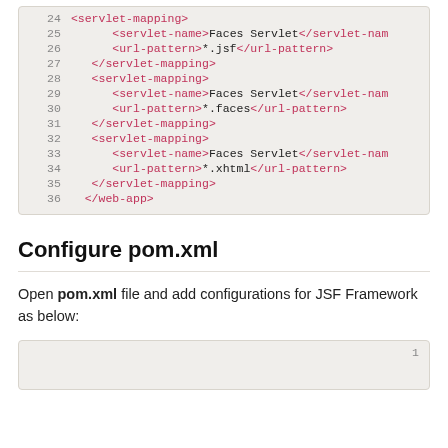[Figure (screenshot): XML code block showing servlet-mapping entries for Faces Servlet with url-patterns *.jsf, *.faces, *.xhtml, and closing web-app tag (lines 24-36)]
Configure pom.xml
Open pom.xml file and add configurations for JSF Framework as below:
[Figure (screenshot): XML code block showing start of pom.xml configuration (line 1 visible)]